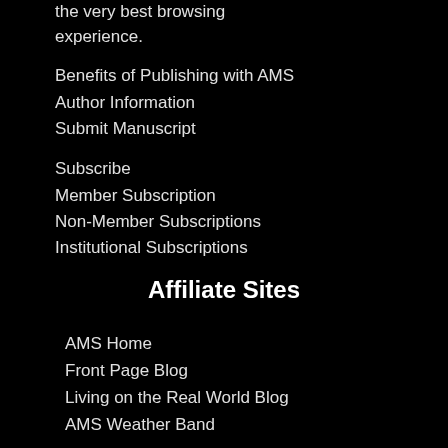the very best browsing experience.
Benefits of Publishing with AMS
Author Information
Submit Manuscript
Subscribe
Member Subscription
Non-Member Subscriptions
Institutional Subscriptions
Affiliate Sites
AMS Home
Front Page Blog
Living on the Real World Blog
AMS Weather Band
Follow Us